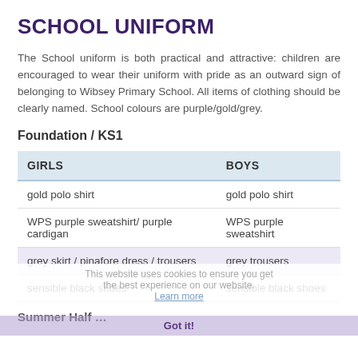SCHOOL UNIFORM
The School uniform is both practical and attractive: children are encouraged to wear their uniform with pride as an outward sign of belonging to Wibsey Primary School. All items of clothing should be clearly named. School colours are purple/gold/grey.
Foundation / KS1
| GIRLS | BOYS |
| --- | --- |
| gold polo shirt | gold polo shirt |
| WPS purple sweatshirt/ purple cardigan | WPS purple sweatshirt |
| grey skirt / pinafore dress / trousers | grey trousers |
| sensible black shoes | sensible black shoes |
Summer Half …